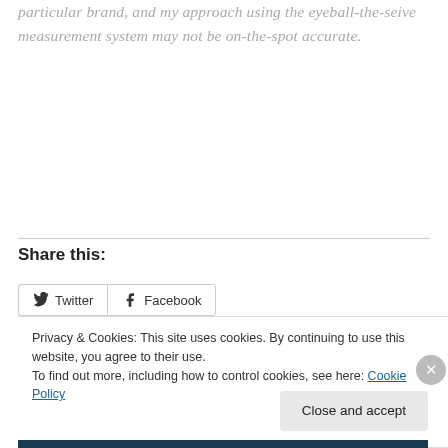particular brand, and my approach using the eyeball-the-seive measurement system may not be on-the-spot accurate.
Share this:
[Figure (other): Social sharing buttons: Twitter and Facebook]
Privacy & Cookies: This site uses cookies. By continuing to use this website, you agree to their use.
To find out more, including how to control cookies, see here: Cookie Policy
Close and accept